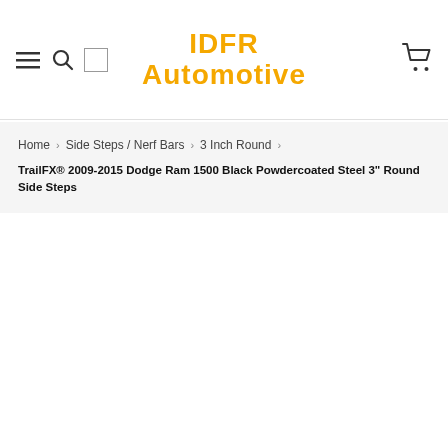IDFR Automotive
Home > Side Steps / Nerf Bars > 3 Inch Round
TrailFX® 2009-2015 Dodge Ram 1500 Black Powdercoated Steel 3" Round Side Steps